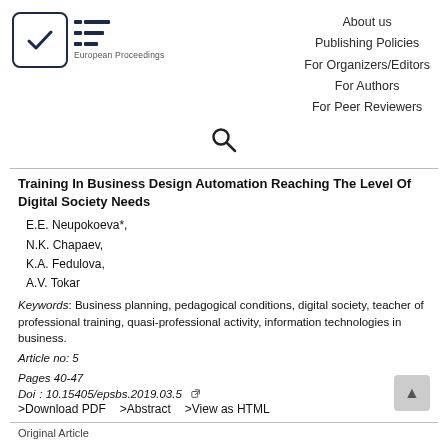[Figure (logo): European Proceedings logo with checkbox icon and EP text mark]
About us
Publishing Policies
For Organizers/Editors
For Authors
For Peer Reviewers
[Figure (other): Search icon (magnifying glass)]
Training In Business Design Automation Reaching The Level Of Digital Society Needs
E.E. Neupokoeva*,
N.K. Chapaev,
K.A. Fedulova,
A.V. Tokar
Keywords: Business planning, pedagogical conditions, digital society, teacher of professional training, quasi-professional activity, information technologies in business.
Article no: 5
Pages 40-47
Doi: 10.15405/epsbs.2019.03.5
>Download PDF    >Abstract    >View as HTML
Original Article